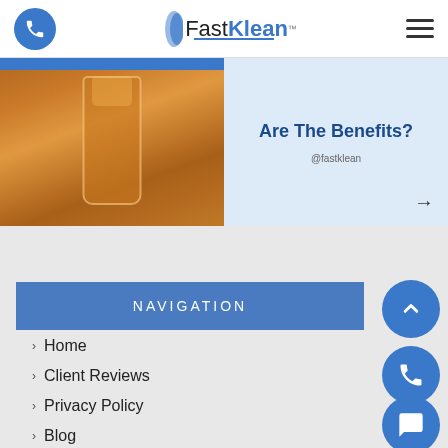FastKlean — phone, logo, menu
[Figure (photo): Left half: photo of a glass filled with amber/orange liquid (beer or juice) held up against a warm background, with a blue bar at top. Right half: light blue panel with text 'Are The Benefits?' and '@fastklean' handle and right arrow.]
NAVIGATION
Home
Client Reviews
Privacy Policy
Blog
Terms
Binding